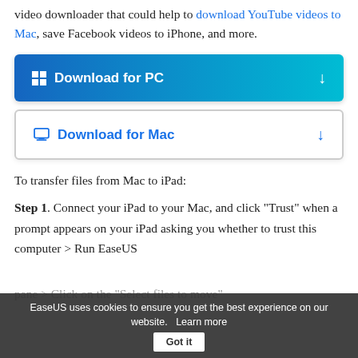video downloader that could help to download YouTube videos to Mac, save Facebook videos to iPhone, and more.
[Figure (other): Download for PC button - blue gradient button with Windows icon and download arrow]
[Figure (other): Download for Mac button - white outlined button with Mac icon and download arrow]
To transfer files from Mac to iPad:
Step 1. Connect your iPad to your Mac, and click "Trust" when a prompt appears on your iPad asking you whether to trust this computer > Run EaseUS
pane > Click on the "Select files to move"
EaseUS uses cookies to ensure you get the best experience on our website.   Learn more   Got it